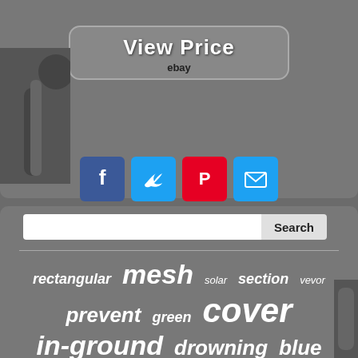[Figure (screenshot): View Price button with eBay label, rounded rectangle, gray background]
[Figure (infographic): Social share icons: Facebook, Twitter, Pinterest, Email]
[Figure (screenshot): Search bar with Search button]
rectangular mesh solar section vevor prevent green cover in-ground drowning blue winter inground rectangle covers size solid gate